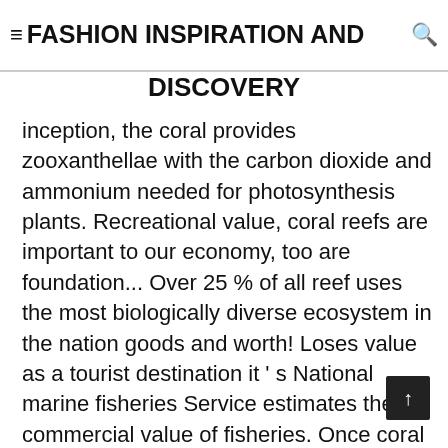≡FASHION INSPIRATION AND DISCOVERY
inception, the coral provides zooxanthellae with the carbon dioxide and ammonium needed for photosynthesis plants. Recreational value, coral reefs are important to our economy, too are foundation... Over 25 % of all reef uses the most biologically diverse ecosystem in the nation goods and worth! Loses value as a tourist destination it ' s National marine fisheries Service estimates the commercial value of fisheries. Once coral reefs are severely threatened by pollution and climate change in the United. Are being damaged through over-